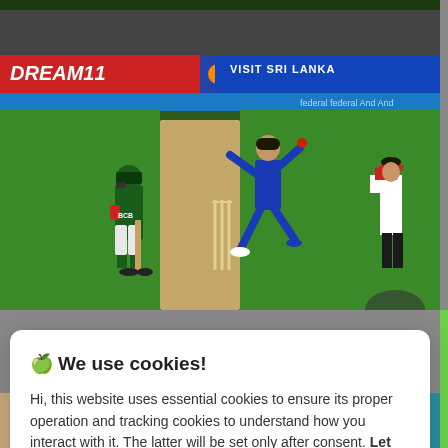[Figure (photo): Cricket match photo showing a bowler in blue Indian cricket uniform delivering the ball, a batsman in green Pakistan uniform at the crease, cricket stumps visible, advertising boards in background reading DREAM11 and VISIT SRI LANKA, umpire in white and red jacket visible on right]
🍪 We use cookies!
Hi, this website uses essential cookies to ensure its proper operation and tracking cookies to understand how you interact with it. The latter will be set only after consent. Let me choose
Accept all
Reject all
[Figure (photo): Partial cricket-related photo at the bottom of the page showing two sections in different colors]